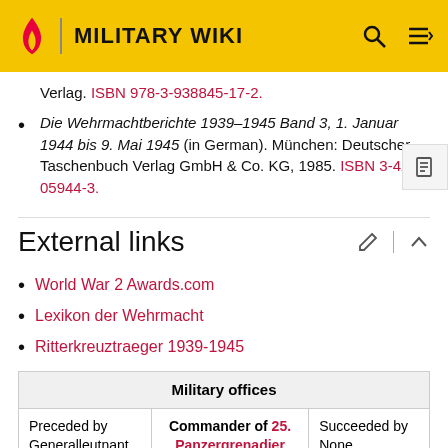MILITARY WIKI
Verlag. ISBN 978-3-938845-17-2.
Die Wehrmachtberichte 1939–1945 Band 3, 1. Januar 1944 bis 9. Mai 1945 (in German). München: Deutscher Taschenbuch Verlag GmbH & Co. KG, 1985. ISBN 3-423-05944-3.
External links
World War 2 Awards.com
Lexikon der Wehrmacht
Ritterkreuztraeger 1939-1945
| Military offices |
| --- |
| Preceded by
Generalleutnant | Commander of 25. Panzergrenadier | Succeeded by
None |